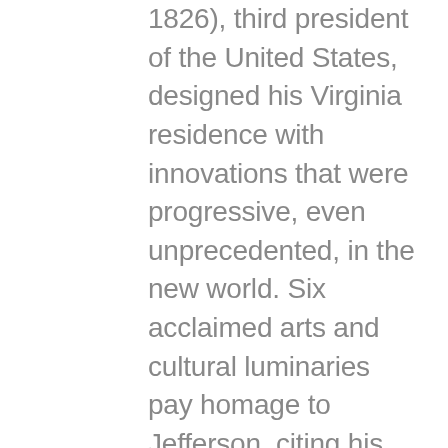1826), third president of the United States, designed his Virginia residence with innovations that were progressive, even unprecedented, in the new world. Six acclaimed arts and cultural luminaries pay homage to Jefferson, citing his work at Monticello as testament to his genius in art, culture, and science, from his adaptation of Palladian architecture, his sweeping vision for landscape design, his experimental gardens, and his passion for French wine and cuisine to his eclectic mix of European and American art and artifacts and the creation of the country's seminal